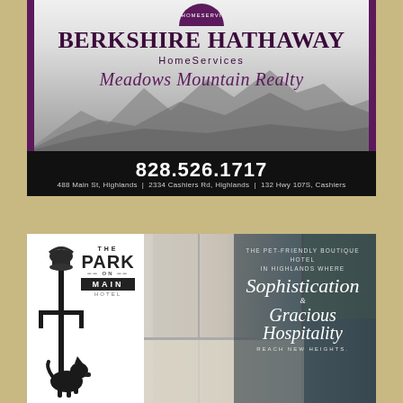[Figure (logo): Berkshire Hathaway HomeServices Meadows Mountain Realty advertisement with mountain background, purple accents, and black contact bar showing phone 828.526.1717 and three addresses]
[Figure (photo): The Park on Main Hotel advertisement showing hotel room interior with text: The pet-friendly boutique hotel in Highlands where Sophistication & Gracious Hospitality Reach New Heights. Logo shows lamp post with THE PARK ON MAIN HOTEL signage and scottie dog.]